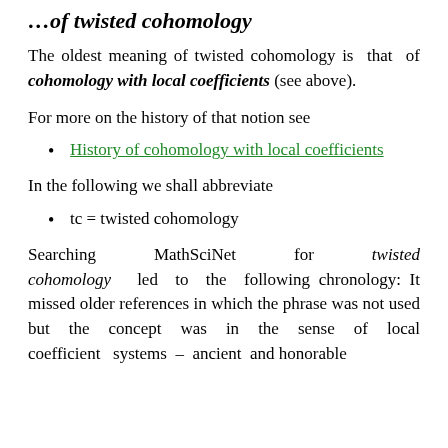…of twisted cohomology
The oldest meaning of twisted cohomology is that of cohomology with local coefficients (see above).
For more on the history of that notion see
History of cohomology with local coefficients
In the following we shall abbreviate
tc = twisted cohomology
Searching MathSciNet for twisted cohomology led to the following chronology: It missed older references in which the phrase was not used but the concept was in the sense of local coefficient systems – ancient and honorable…